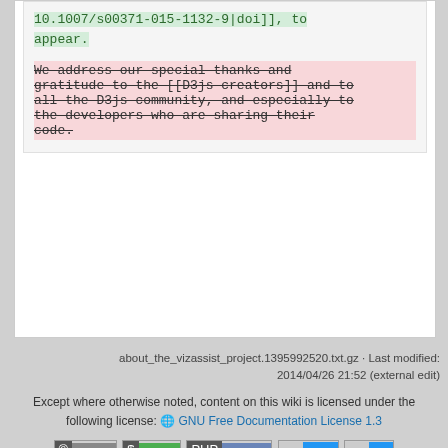10.1007/s00371-015-1132-9|doi]], to appear.
We address our special thanks and gratitude to the [[D3js creators]] and to all the D3js community, and especially to the developers who are sharing their code.
about_the_vizassist_project.1395992520.txt.gz · Last modified: 2014/04/26 21:52 (external edit)
Except where otherwise noted, content on this wiki is licensed under the following license: GNU Free Documentation License 1.3